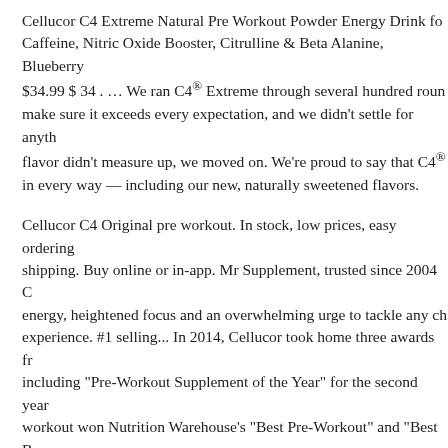Cellucor C4 Extreme Natural Pre Workout Powder Energy Drink fo… Caffeine, Nitric Oxide Booster, Citrulline & Beta Alanine, Blueberry… $34.99 $ 34 . … We ran C4® Extreme through several hundred roun… make sure it exceeds every expectation, and we didn't settle for anyth… flavor didn't measure up, we moved on. We're proud to say that C4®… in every way — including our new, naturally sweetened flavors.
Cellucor C4 Original pre workout. In stock, low prices, easy ordering… shipping. Buy online or in-app. Mr Supplement, trusted since 2004 C… energy, heightened focus and an overwhelming urge to tackle any ch… experience. #1 selling... In 2014, Cellucor took home three awards fr… including “Pre-Workout Supplement of the Year” for the second year… workout won Nutrition Warehouse’s “Best Pre-Workout” and “Best B… consumers …
Cellucor C4 Extreme Pre Workout Powder Energy Drink for Men &… Caffeine, Nitric Oxide Booster, Citrulline & Beta Alanine, Fruit Punc… America’s #1 selling pre-workout brand. There are a lot of pre-worko… America’s #1 selling pre-workout brand. We’ve sold over a billion se…